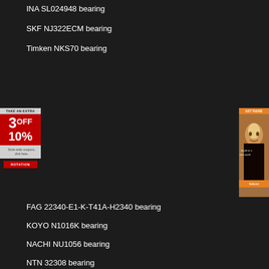INA SL024948 bearing
SKF NJ322ECM bearing
Timken NKS70 bearing
[Figure (other): Left advertisement banner: red background with '3OFF 10%' promotional text and a button]
[Figure (other): Right advertisement banner showing a woman's face product ad]
FAG 22340-E1-K-T41A-H2340 bearing
KOYO N1016K bearing
NACHI NU1056 bearing
NTN 32308 bearing
SKF BT2B332605A/HA1 bearing
SKF 22228CC/W33 bearing
SKF 24122-2CS5/VT143 bearing
[Figure (other): Blue contact button with smiley face icon and 'contact' label]
COPYRIGHT © 2018 - 2028    GBS BEARING CO.,LTD
Home   Send email   OL-message